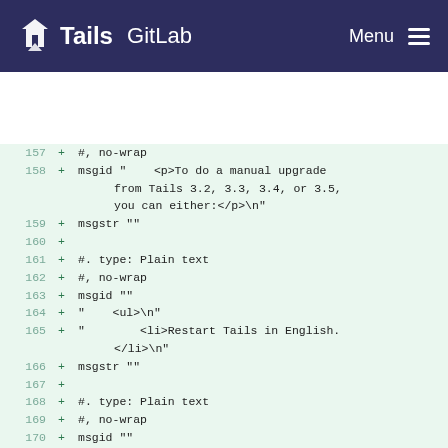Tails GitLab  Menu
157  + #, no-wrap
158  + msgid "    <p>To do a manual upgrade from Tails 3.2, 3.3, 3.4, or 3.5, you can either:</p>\n"
159  + msgstr ""
160  +
161  + #. type: Plain text
162  + #, no-wrap
163  + msgid ""
164  + "    <ul>\n"
165  + "        <li>Restart Tails in English.</li>\n"
166  + msgstr ""
167  +
168  + #. type: Plain text
169  + #, no-wrap
170  + msgid ""
171  + "        <li>Start <span class=\"application\">Tails Installer</span> in\n"